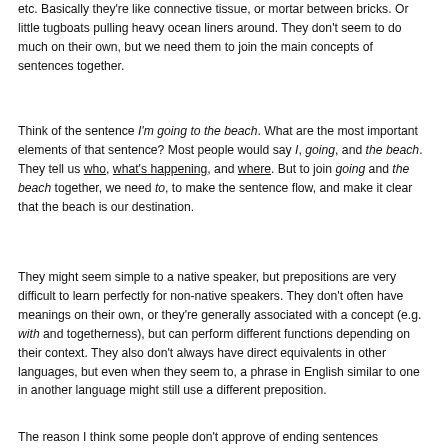etc. Basically they're like connective tissue, or mortar between bricks. Or little tugboats pulling heavy ocean liners around. They don't seem to do much on their own, but we need them to join the main concepts of sentences together.
Think of the sentence I'm going to the beach. What are the most important elements of that sentence? Most people would say I, going, and the beach. They tell us who, what's happening, and where. But to join going and the beach together, we need to, to make the sentence flow, and make it clear that the beach is our destination.
They might seem simple to a native speaker, but prepositions are very difficult to learn perfectly for non-native speakers. They don't often have meanings on their own, or they're generally associated with a concept (e.g. with and togetherness), but can perform different functions depending on their context. They also don't always have direct equivalents in other languages, but even when they seem to, a phrase in English similar to one in another language might still use a different preposition.
The reason I think some people don't approve of ending sentences